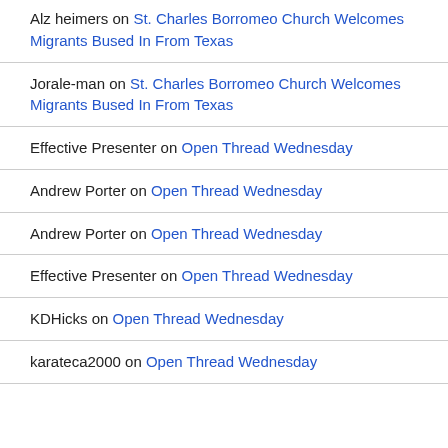Alz heimer s on St. Charles Borromeo Church Welcomes Migrants Bused In From Texas
Jorale-man on St. Charles Borromeo Church Welcomes Migrants Bused In From Texas
Effective Presenter on Open Thread Wednesday
Andrew Porter on Open Thread Wednesday
Andrew Porter on Open Thread Wednesday
Effective Presenter on Open Thread Wednesday
KDHicks on Open Thread Wednesday
karateca2000 on Open Thread Wednesday